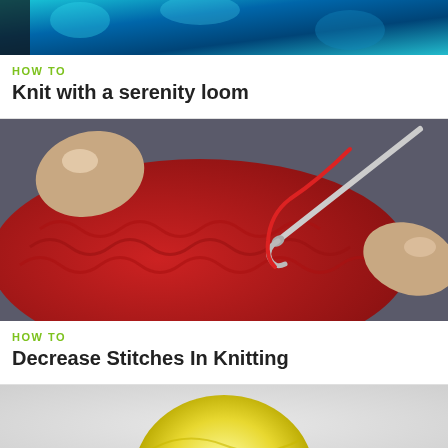[Figure (photo): Top portion of a knitting with serenity loom tutorial video thumbnail showing teal/blue colors]
HOW TO
Knit with a serenity loom
[Figure (photo): Close-up photo of hands working with a crochet hook through red knitted fabric on a circular loom]
HOW TO
Decrease Stitches In Knitting
[Figure (photo): Partial view of a yellow ball of yarn on a light gray background]